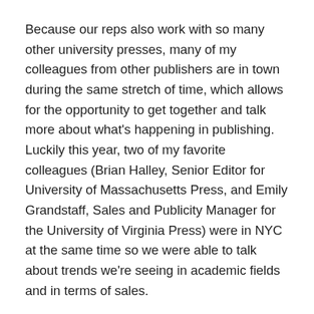Because our reps also work with so many other university presses, many of my colleagues from other publishers are in town during the same stretch of time, which allows for the opportunity to get together and talk more about what's happening in publishing. Luckily this year, two of my favorite colleagues (Brian Halley, Senior Editor for University of Massachusetts Press, and Emily Grandstaff, Sales and Publicity Manager for the University of Virginia Press) were in NYC at the same time so we were able to talk about trends we're seeing in academic fields and in terms of sales.
Preparation for sales conference is mostly a mental exercise—we publish approximately 75 books a year and distribute another 250 or so, which means there are a lot of books for which I need to know not only what the book is about in a sentence or two, but also its unique sales opportunities, where the author is from, what bookstores the author has recommended as sales outlets, what the editor suggested